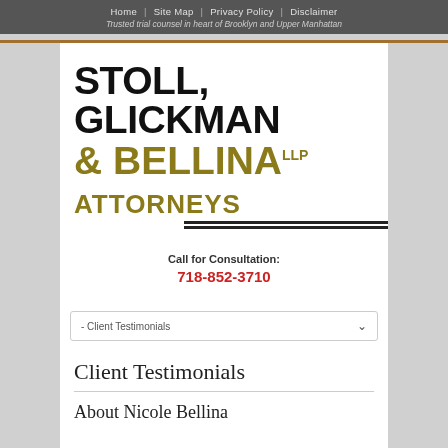Home | Site Map | Privacy Policy | Disclaimer
Trusted trial counsel in heart of Brooklyn and Upper Manhattan
[Figure (logo): Stoll, Glickman & Bellina LLP Attorneys law firm logo with large bold black and gold text]
Call for Consultation:
718-852-3710
- Client Testimonials
Client Testimonials
About Nicole Bellina